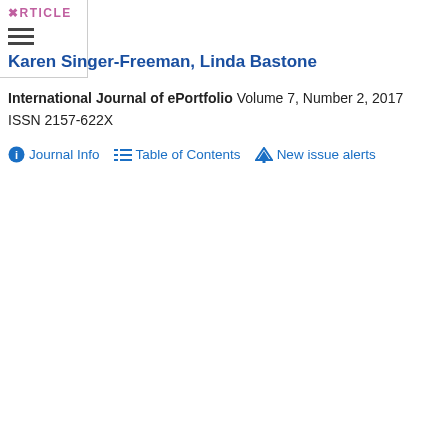ARTICLE
Karen Singer-Freeman, Linda Bastone
International Journal of ePortfolio Volume 7, Number 2, 2017
ISSN 2157-622X
Journal Info   Table of Contents   New issue alerts